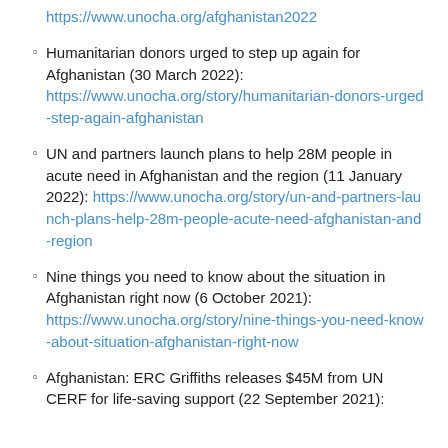https://www.unocha.org/afghanistan2022
Humanitarian donors urged to step up again for Afghanistan (30 March 2022): https://www.unocha.org/story/humanitarian-donors-urged-step-again-afghanistan
UN and partners launch plans to help 28M people in acute need in Afghanistan and the region (11 January 2022): https://www.unocha.org/story/un-and-partners-launch-plans-help-28m-people-acute-need-afghanistan-and-region
Nine things you need to know about the situation in Afghanistan right now (6 October 2021): https://www.unocha.org/story/nine-things-you-need-know-about-situation-afghanistan-right-now
Afghanistan: ERC Griffiths releases $45M from UN CERF for life-saving support (22 September 2021):